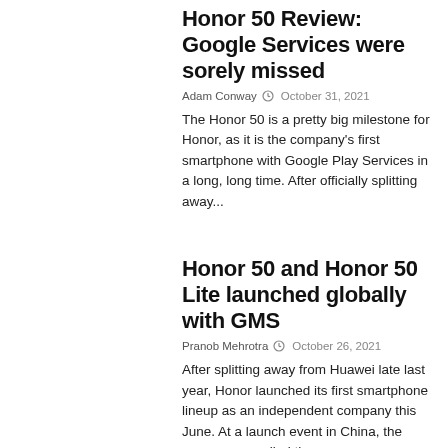Honor 50 Review: Google Services were sorely missed
Adam Conway  October 31, 2021
The Honor 50 is a pretty big milestone for Honor, as it is the company's first smartphone with Google Play Services in a long, long time. After officially splitting away...
Honor 50 and Honor 50 Lite launched globally with GMS
Pranob Mehrotra  October 26, 2021
After splitting away from Huawei late last year, Honor launched its first smartphone lineup as an independent company this June. At a launch event in China, the company unveiled three...